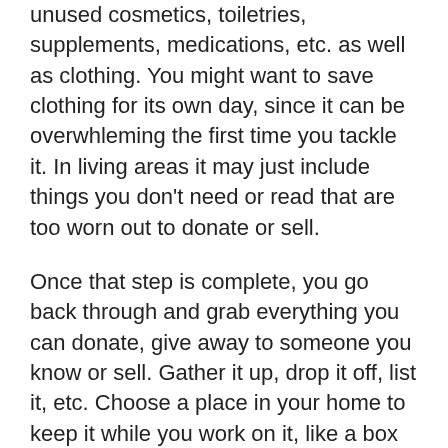unused cosmetics, toiletries, supplements, medications, etc. as well as clothing. You might want to save clothing for its own day, since it can be overwhleming the first time you tackle it. In living areas it may just include things you don't need or read that are too worn out to donate or sell.
Once that step is complete, you go back through and grab everything you can donate, give away to someone you know or sell. Gather it up, drop it off, list it, etc. Choose a place in your home to keep it while you work on it, like a box in the garage or near a door you use often. I find that putting donations straight into the back of my vehicle is